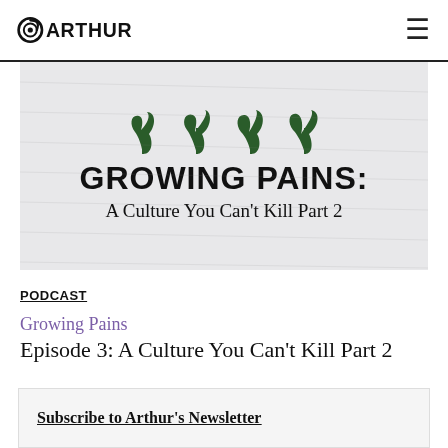@ARTHUR
[Figure (illustration): Cover image for 'Growing Pains: A Culture You Can't Kill Part 2' podcast episode, showing four small green plant/figure illustrations above bold text reading 'GROWING PAINS:' and subtitle 'A Culture You Can't Kill Part 2' on a light grey textured background.]
PODCAST
Growing Pains
Episode 3: A Culture You Can't Kill Part 2
Subscribe to Arthur's Newsletter